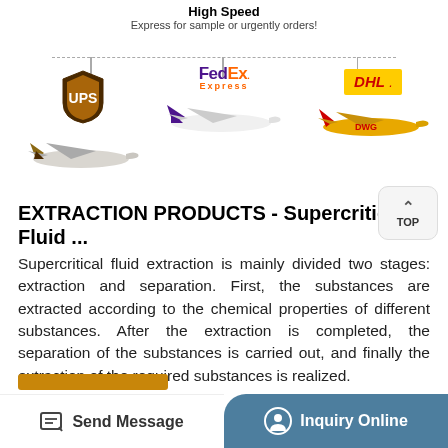High Speed
Express for sample or urgently orders!
[Figure (infographic): Three shipping carriers shown with logos and airplane images: UPS (brown shield logo with plane), FedEx Express (purple/orange logo with plane), DHL (yellow badge with plane). Connected by a dashed horizontal line branching down to each carrier.]
EXTRACTION PRODUCTS - Supercritical Fluid ...
Supercritical fluid extraction is mainly divided two stages: extraction and separation. First, the substances are extracted according to the chemical properties of different substances. After the extraction is completed, the separation of the substances is carried out, and finally the extraction of the required substances is realized.
Send Message
Inquiry Online